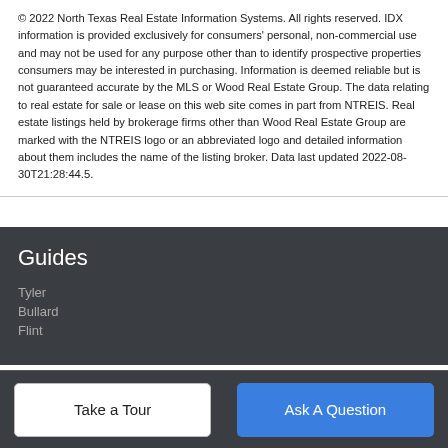© 2022 North Texas Real Estate Information Systems. All rights reserved. IDX information is provided exclusively for consumers' personal, non-commercial use and may not be used for any purpose other than to identify prospective properties consumers may be interested in purchasing. Information is deemed reliable but is not guaranteed accurate by the MLS or Wood Real Estate Group. The data relating to real estate for sale or lease on this web site comes in part from NTREIS. Real estate listings held by brokerage firms other than Wood Real Estate Group are marked with the NTREIS logo or an abbreviated logo and detailed information about them includes the name of the listing broker. Data last updated 2022-08-30T21:28:44.5.
Guides
Tyler
Bullard
Flint
Take a Tour | Ask A Question